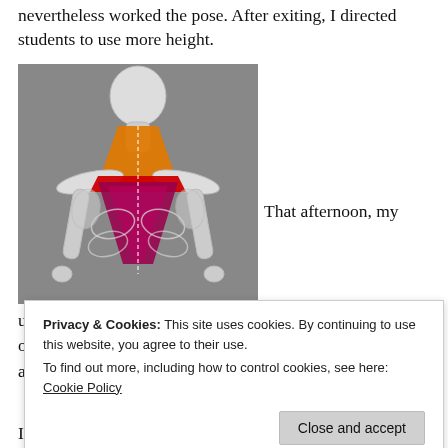nevertheless worked the pose. After exiting, I directed students to use more height.
[Figure (illustration): Anatomical diagram of the back of a human skeleton with muscles highlighted in orange (neck/trapezius upper), red (upper trapezius), and dark magenta/purple (lower trapezius) regions, viewed from behind on a gray background.]
That afternoon, my
u ... o ... a
Privacy & Cookies: This site uses cookies. By continuing to use this website, you agree to their use.
To find out more, including how to control cookies, see here: Cookie Policy
Close and accept
Ironically, I escaped whiplash when rear-ended